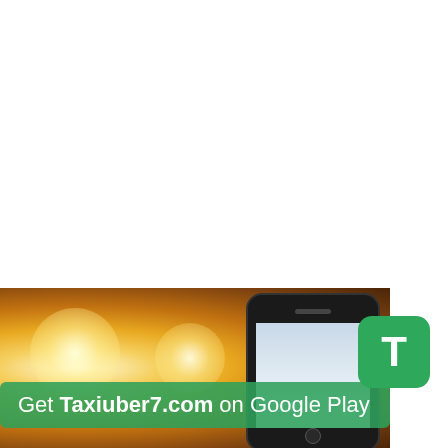[Figure (photo): Bottom portion of a page showing a smartphone with bokeh light background, a green banner reading 'Get Taxiuber7.com on Google Play', and a green app icon with the letter T in the bottom right.]